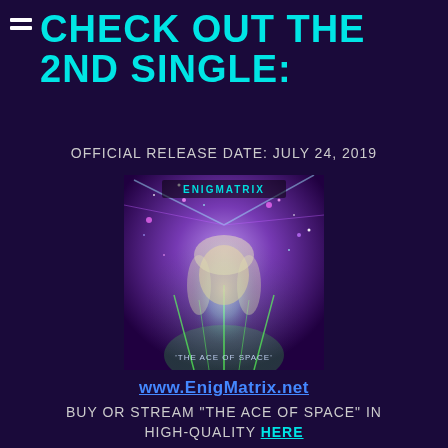CHECK OUT THE 2ND SINGLE:
OFFICIAL RELEASE DATE: JULY 24, 2019
[Figure (illustration): Album cover for Enigmatrix - The Ace of Space, featuring a woman's face with cosmic/space background with purple, cyan, and green light effects. The text 'ENIGMATRIX' appears at the top and 'THE ACE OF SPACE' at the bottom of the cover art.]
www.EnigMatrix.net
BUY OR STREAM "THE ACE OF SPACE" IN HIGH-QUALITY HERE